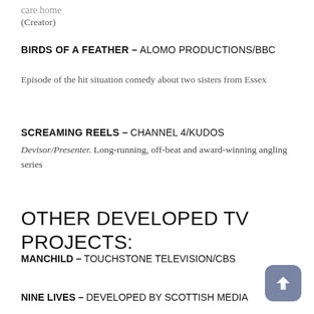care home
(Creator)
BIRDS OF A FEATHER – ALOMO PRODUCTIONS/BBC
Episode of the hit situation comedy about two sisters from Essex
SCREAMING REELS – CHANNEL 4/KUDOS
Devisor/Presenter. Long-running, off-beat and award-winning angling series
OTHER DEVELOPED TV PROJECTS:
MANCHILD – TOUCHSTONE TELEVISION/CBS
NINE LIVES – DEVELOPED BY SCOTTISH MEDIA